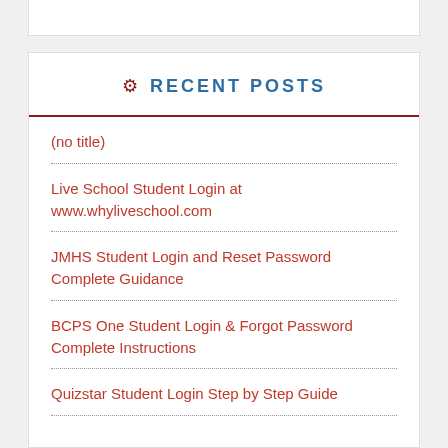RECENT POSTS
(no title)
Live School Student Login at www.whyliveschool.com
JMHS Student Login and Reset Password Complete Guidance
BCPS One Student Login & Forgot Password Complete Instructions
Quizstar Student Login Step by Step Guide